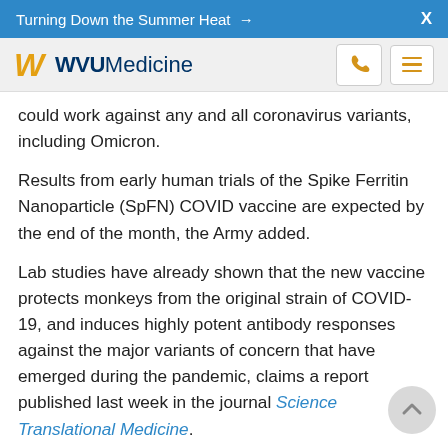Turning Down the Summer Heat →   X
[Figure (logo): WVU Medicine logo with flying WV icon in gold and WVU Medicine text in navy, with phone and menu navigation icons]
could work against any and all coronavirus variants, including Omicron.
Results from early human trials of the Spike Ferritin Nanoparticle (SpFN) COVID vaccine are expected by the end of the month, the Army added.
Lab studies have already shown that the new vaccine protects monkeys from the original strain of COVID-19, and induces highly potent antibody responses against the major variants of concern that have emerged during the pandemic, claims a report published last week in the journal Science Translational Medicine.
The upcoming results from phase I human trials, which started in April 2021 and aimed to include a total of 72 people, will show whether the effectiveness observed in